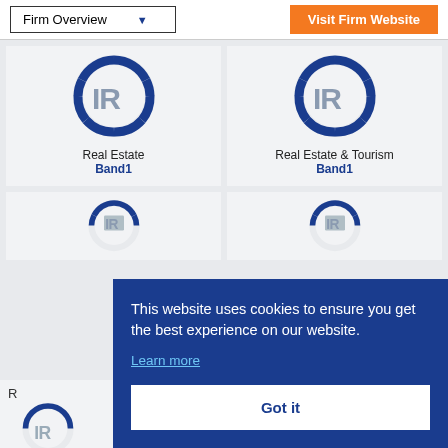[Figure (screenshot): Navigation dropdown button labeled 'Firm Overview' with a blue arrow]
[Figure (screenshot): Orange button labeled 'Visit Firm Website']
[Figure (logo): Chambers and Partners IR logo with blue ring and grey IR letters, top-left card]
[Figure (logo): Chambers and Partners IR logo with blue ring and grey IR letters, top-right card]
Real Estate
Band 1
Real Estate & Tourism
Band 1
[Figure (logo): Chambers and Partners partial logo, lower-left card]
[Figure (logo): Chambers and Partners partial logo, lower-right card]
This website uses cookies to ensure you get the best experience on our website.
Learn more
Got it
R
85